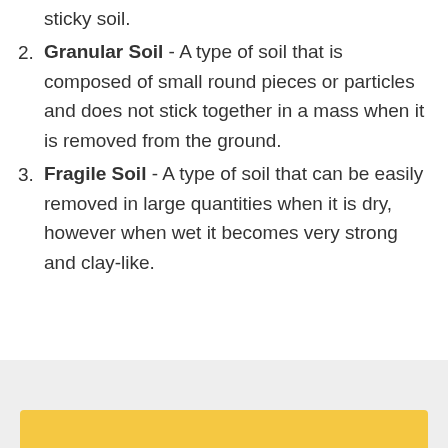sticky soil.
Granular Soil - A type of soil that is composed of small round pieces or particles and does not stick together in a mass when it is removed from the ground.
Fragile Soil - A type of soil that can be easily removed in large quantities when it is dry, however when wet it becomes very strong and clay-like.